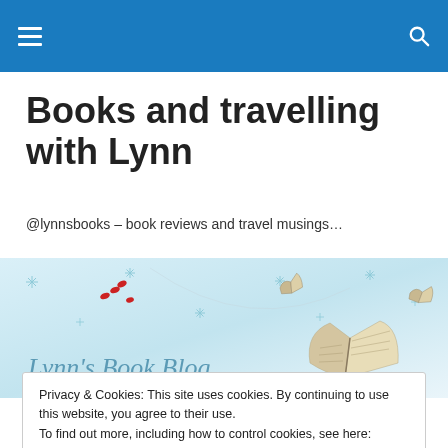Books and travelling with Lynn – navigation bar
Books and travelling with Lynn
@lynnsbooks – book reviews and travel musings…
[Figure (illustration): Banner image for Lynn's Book Blog showing an open book with pages flying, decorative stars and snowflakes on a light blue gradient background, with the text 'Lynn's Book Blog' in italic light blue serif font]
Privacy & Cookies: This site uses cookies. By continuing to use this website, you agree to their use.
To find out more, including how to control cookies, see here: Cookie Policy
Close and accept
of a man and the bared fange